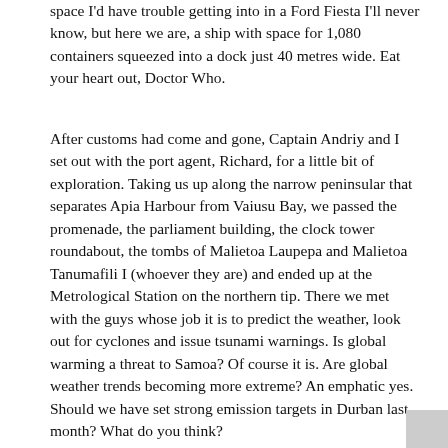space I'd have trouble getting into in a Ford Fiesta I'll never know, but here we are, a ship with space for 1,080 containers squeezed into a dock just 40 metres wide. Eat your heart out, Doctor Who.
After customs had come and gone, Captain Andriy and I set out with the port agent, Richard, for a little bit of exploration. Taking us up along the narrow peninsular that separates Apia Harbour from Vaiusu Bay, we passed the promenade, the parliament building, the clock tower roundabout, the tombs of Malietoa Laupepa and Malietoa Tanumafili I (whoever they are) and ended up at the Metrological Station on the northern tip. There we met with the guys whose job it is to predict the weather, look out for cyclones and issue tsunami warnings. Is global warming a threat to Samoa? Of course it is. Are global weather trends becoming more extreme? An emphatic yes. Should we have set strong emission targets in Durban last month? What do you think?